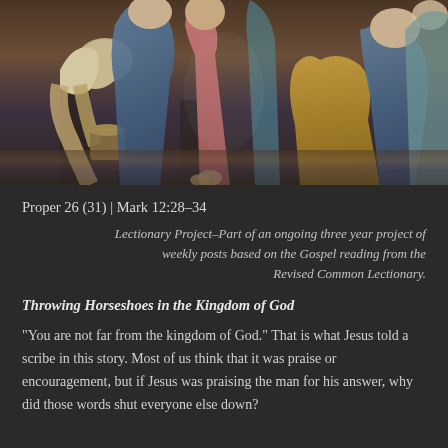[Figure (illustration): A classical religious painting showing multiple figures in robes, appearing to be a biblical scene. Figures are depicted in dramatic poses with rich colors of blue, gold, and earth tones, in the style of El Greco or similar Renaissance/Mannerist painter.]
Proper 26 (31) | Mark 12:28–34
Lectionary Project–Part of an ongoing three year project of weekly posts based on the Gospel reading from the Revised Common Lectionary.
Throwing Horseshoes in the Kingdom of God
“You are not far from the kingdom of God.” That is what Jesus told a scribe in this story. Most of us think that it was praise or encouragement, but if Jesus was praising the man for his answer, why did those words shut everyone else down?